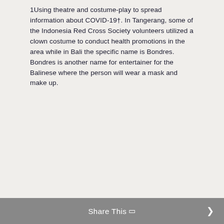1Using theatre and costume-play to spread information about COVID-19†. In Tangerang, some of the Indonesia Red Cross Society volunteers utilized a clown costume to conduct health promotions in the area while in Bali the specific name is Bondres. Bondres is another name for entertainer for the Balinese where the person will wear a mask and make up.
Share This